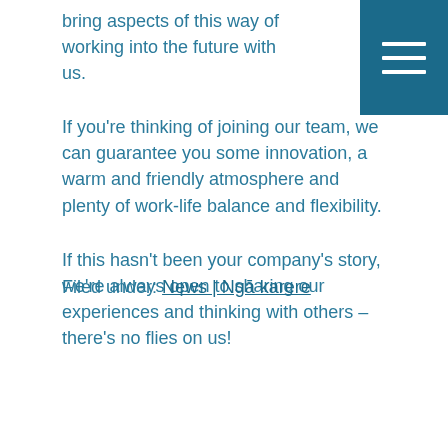bring aspects of this way of working into the future with us.
If you're thinking of joining our team, we can guarantee you some innovation, a warm and friendly atmosphere and plenty of work-life balance and flexibility.
If this hasn't been your company's story, we're always open to sharing our experiences and thinking with others – there's no flies on us!
Filed under: News | Ngā karere